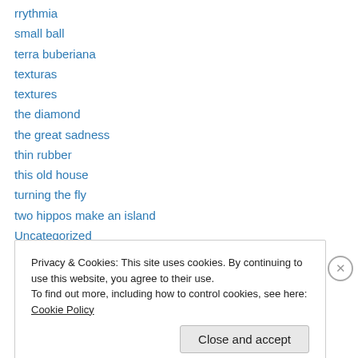rrythmia
small ball
terra buberiana
texturas
textures
the diamond
the great sadness
thin rubber
this old house
turning the fly
two hippos make an island
Uncategorized
when a white boy dances
Privacy & Cookies: This site uses cookies. By continuing to use this website, you agree to their use. To find out more, including how to control cookies, see here: Cookie Policy
Close and accept